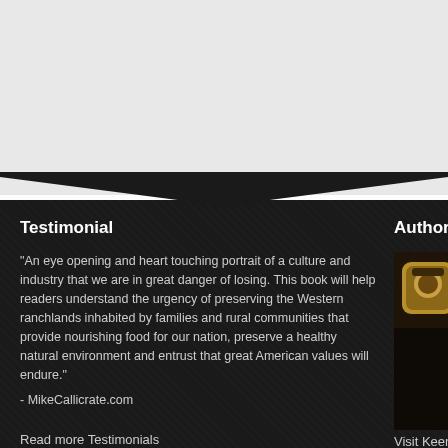[Figure (photo): Top light gray section of a webpage, partially visible]
Testimonial
"An eye opening and heart touching portrait of a culture and industry that we are in great danger of losing. This book will help readers understand the urgency of preserving the Western ranchlands inhabited by families and rural communities that provide nourishing food for our nation, preserve a healthy natural environment and entrust that great American values will endure."
- MikeCallicrate.com
Read more Testimonials
Author & Photo
[Figure (photo): Thumbnail image of author with 'About' text overlay, dark background]
Visit KeenMedia.co